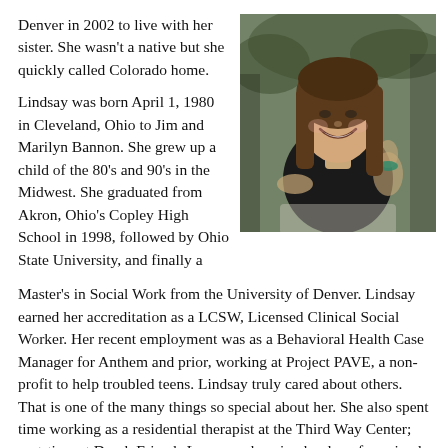Denver in 2002 to live with her sister.  She wasn't a native but she quickly called Colorado home.
[Figure (photo): A smiling woman with long brown hair wearing a black top, seated outdoors.]
Lindsay was born April 1, 1980 in Cleveland, Ohio to Jim and Marilyn Bannon. She grew up a child of the 80's and 90's in the Midwest. She graduated from Akron, Ohio's Copley High School in 1998, followed by Ohio State University, and finally a Master's in Social Work from the University of Denver. Lindsay earned her accreditation as a LCSW, Licensed Clinical Social Worker. Her recent employment was as a Behavioral Health Case Manager for Anthem and prior, working at Project PAVE, a non-profit to help troubled teens. Lindsay truly cared about others. That is one of the many things so special about her. She also spent time working as a residential therapist at the Third Way Center; part-time at Dumb Friends League enhancing her love for animals and as an Applied Behavior Analysis therapist for children with Autism.
Lindsay met the love of her life, James Draughn, in February of 2016. On a bucket list trip to Iceland with her close group of friends James